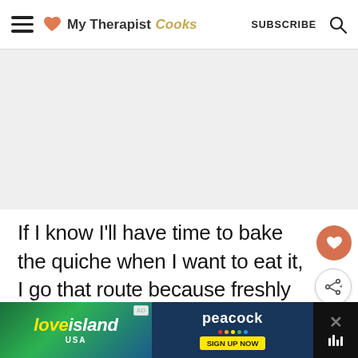My Therapist Cooks — SUBSCRIBE
[Figure (other): Gray placeholder image block below the navigation header]
If I know I'll have time to bake the quiche when I want to eat it, I go that route because freshly baked quiche is super delicious. I also rarely make my own crust because meal prep is really legit when
[Figure (other): What's Next widget: Prep Time]
[Figure (other): Love Island USA / peacock SIGN UP NOW advertisement banner at bottom]